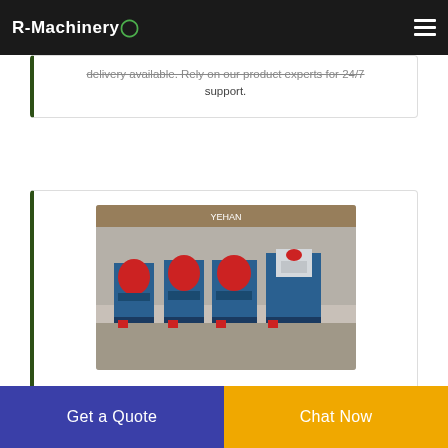R-Machinery
delivery available. Rely on our product experts for 24/7 support.
[Figure (photo): Multiple blue industrial cable stripping machines with red components lined up in a factory or warehouse setting.]
Cart
Sign up for email updates. Get updates on savings events
Get a Quote
Chat Now